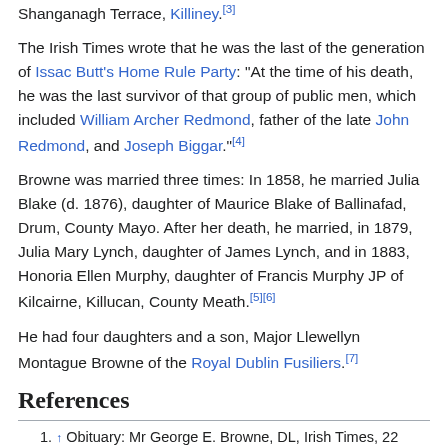Shanganagh Terrace, Killiney.[3]
The Irish Times wrote that he was the last of the generation of Issac Butt's Home Rule Party: "At the time of his death, he was the last survivor of that group of public men, which included William Archer Redmond, father of the late John Redmond, and Joseph Biggar."[4]
Browne was married three times: In 1858, he married Julia Blake (d. 1876), daughter of Maurice Blake of Ballinafad, Drum, County Mayo. After her death, he married, in 1879, Julia Mary Lynch, daughter of James Lynch, and in 1883, Honoria Ellen Murphy, daughter of Francis Murphy JP of Kilcairne, Killucan, County Meath.[5][6]
He had four daughters and a son, Major Llewellyn Montague Browne of the Royal Dublin Fusiliers.[7]
References
↑ Obituary: Mr George E. Browne, DL, Irish Times, 22 February 1923
↑ Obituary: Mr George E. Browne, DL, Irish Times, 22 February 1923
↑ Obituary: Mr George E. Browne, DL, Irish Times, 22 February